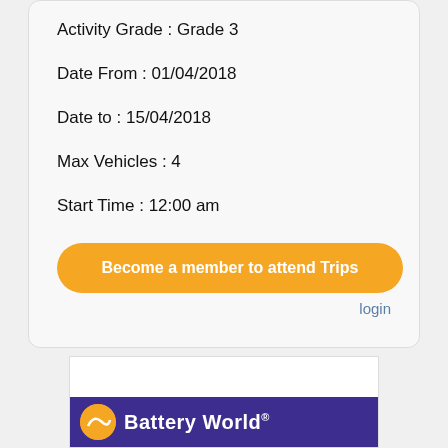Activity Grade : Grade 3
Date From : 01/04/2018
Date to : 15/04/2018
Max Vehicles : 4
Start Time : 12:00 am
Become a member to attend Trips
login
[Figure (logo): Battery World logo on purple background with yellow circle and white text]